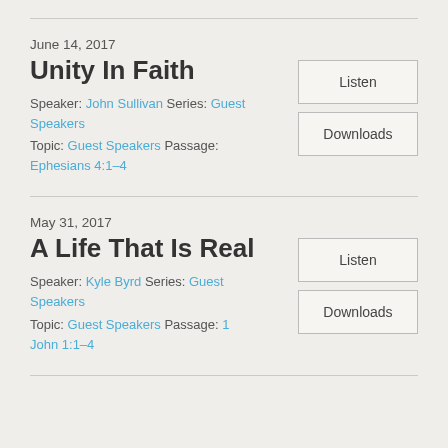June 14, 2017
Unity In Faith
Speaker: John Sullivan Series: Guest Speakers
Topic: Guest Speakers Passage: Ephesians 4:1–4
Listen
Downloads
May 31, 2017
A Life That Is Real
Speaker: Kyle Byrd Series: Guest Speakers
Topic: Guest Speakers Passage: 1 John 1:1–4
Listen
Downloads